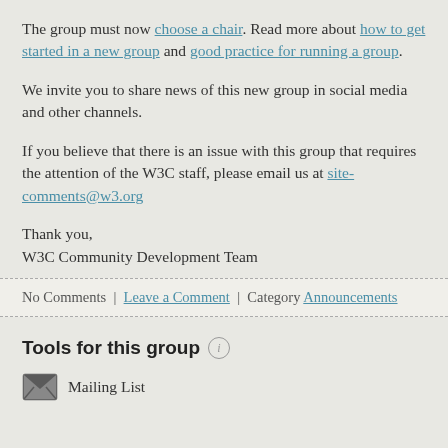The group must now choose a chair. Read more about how to get started in a new group and good practice for running a group.
We invite you to share news of this new group in social media and other channels.
If you believe that there is an issue with this group that requires the attention of the W3C staff, please email us at site-comments@w3.org
Thank you,
W3C Community Development Team
No Comments | Leave a Comment | Category Announcements
Tools for this group
Mailing List